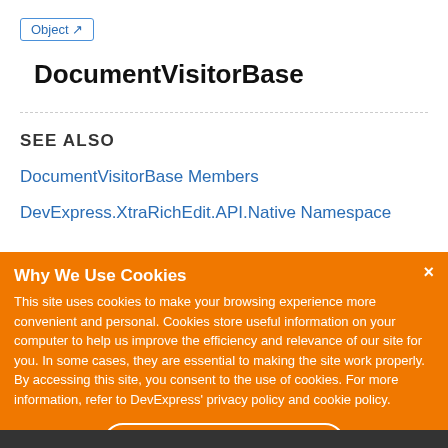Object ↗
DocumentVisitorBase
SEE ALSO
DocumentVisitorBase Members
DevExpress.XtraRichEdit.API.Native Namespace
Why We Use Cookies
This site uses cookies to make your browsing experience more convenient and personal. Cookies store useful information on your computer to help us improve the efficiency and relevance of our site for you. In some cases, they are essential to making the site work properly. By accessing this site, you consent to the use of cookies. For more information, refer to DevExpress' privacy policy and cookie policy.
I UNDERSTAND